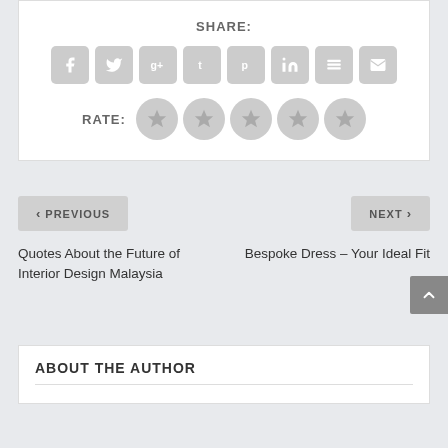SHARE:
[Figure (other): Row of social share icon buttons: Facebook, Twitter, Google+, Tumblr, Pinterest, LinkedIn, Buffer, Email]
RATE:
[Figure (other): Five star rating buttons (circular gray stars)]
< PREVIOUS
Quotes About the Future of Interior Design Malaysia
NEXT >
Bespoke Dress – Your Ideal Fit
ABOUT THE AUTHOR